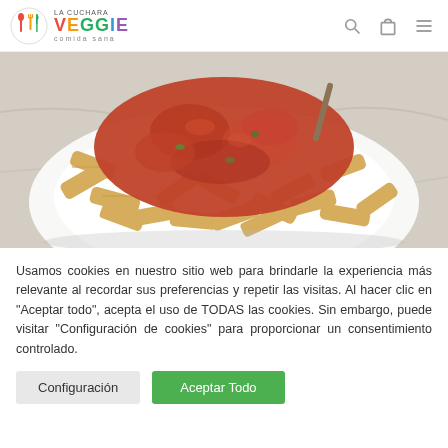LA CUCHARA VEGGIE comida sana
[Figure (photo): A plate of penne pasta topped with tomato-based meat sauce (bolognese style), served on a white plate on a marble surface]
Usamos cookies en nuestro sitio web para brindarle la experiencia más relevante al recordar sus preferencias y repetir las visitas. Al hacer clic en "Aceptar todo", acepta el uso de TODAS las cookies. Sin embargo, puede visitar "Configuración de cookies" para proporcionar un consentimiento controlado.
Configuración
Aceptar Todo